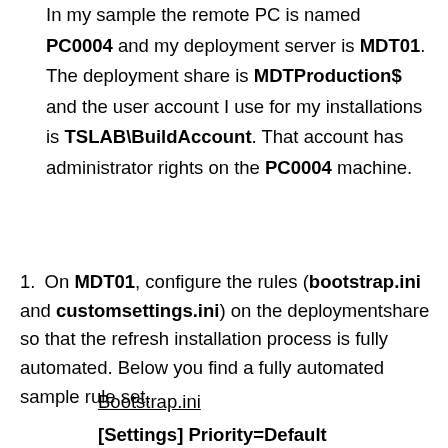In my sample the remote PC is named PC0004 and my deployment server is MDT01. The deployment share is MDTProduction$ and the user account I use for my installations is TSLAB\BuildAccount. That account has administrator rights on the PC0004 machine.
1. On MDT01, configure the rules (bootstrap.ini and customsettings.ini) on the deploymentshare so that the refresh installation process is fully automated. Below you find a fully automated sample rule set.
Bootstrap.ini
[Settings] Priority=Default